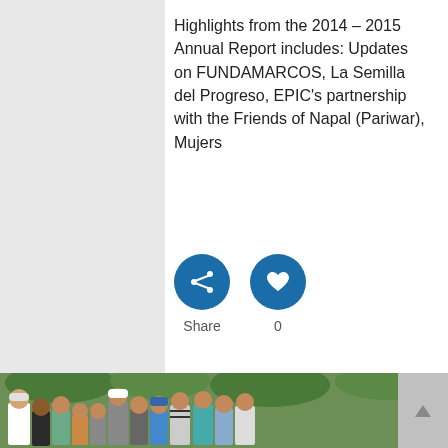Highlights from the 2014 – 2015 Annual Report includes: Updates on FUNDAMARCOS, La Semilla del Progreso, EPIC's partnership with the Friends of Napal (Pariwar), Mujers
[Figure (infographic): Two circular blue buttons: a share icon (left) and a heart/like icon (right), with labels 'Share' and '0' below them]
[Figure (photo): Group photo of approximately 14 people, mostly boys and young men, standing outdoors in front of green trees and vegetation]